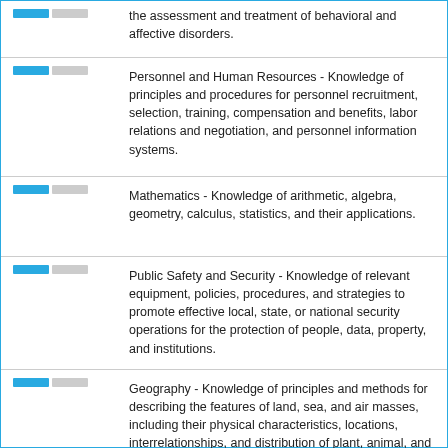the assessment and treatment of behavioral and affective disorders.
Personnel and Human Resources - Knowledge of principles and procedures for personnel recruitment, selection, training, compensation and benefits, labor relations and negotiation, and personnel information systems.
Mathematics - Knowledge of arithmetic, algebra, geometry, calculus, statistics, and their applications.
Public Safety and Security - Knowledge of relevant equipment, policies, procedures, and strategies to promote effective local, state, or national security operations for the protection of people, data, property, and institutions.
Geography - Knowledge of principles and methods for describing the features of land, sea, and air masses, including their physical characteristics, locations, interrelationships, and distribution of plant, animal, and human life.